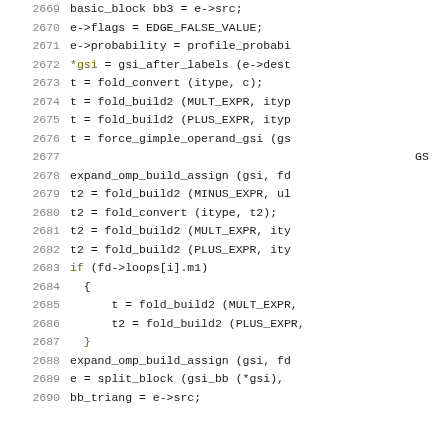[Figure (screenshot): Source code listing showing C code lines 2669-2690, with line numbers on the left in gray and code in monospace font on the right. Lines include variable assignments and function calls such as basic_block, fold_convert, fold_build2, force_gimple_operand_gsi, expand_omp_build_assign, split_block, etc.]